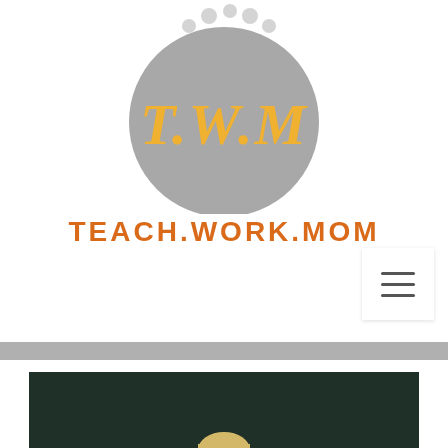[Figure (logo): Teach.Work.Mom logo: a gray circle with script letters T.W.M in gold/yellow, with small decorative crowns/dots above]
TEACH.WORK.MOM
[Figure (other): Hamburger menu icon (three horizontal lines) in a white square box, top right area]
[Figure (photo): Photo of a blond child/person visible from shoulders up against a dark teal/green background, partially cropped]